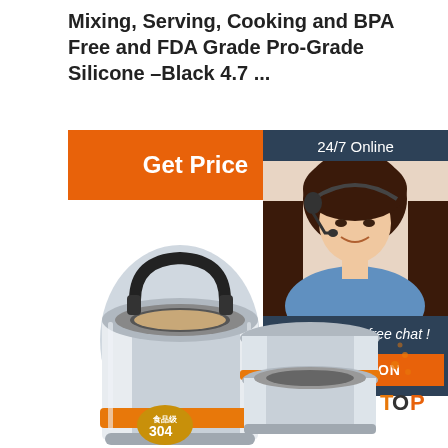Mixing, Serving, Cooking and BPA Free and FDA Grade Pro-Grade Silicone –Black 4.7 ...
Get Price
24/7 Online
[Figure (photo): Customer service agent woman wearing headset smiling]
Click here for free chat !
QUOTATION
[Figure (photo): Stainless steel insulated lunch box with orange band and black handle, showing 304 stainless steel label]
[Figure (photo): Stacked stainless steel food containers with orange accents and TOP badge]